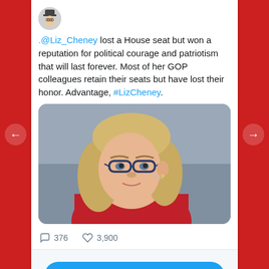[Figure (screenshot): A screenshot of a Twitter/social media card embedded in a red-bordered carousel widget. The tweet says '.@Liz_Cheney lost a House seat but won a reputation for political courage and patriotism that will last forever. Most of her GOP colleagues retain their seats but have lost their honor. Advantage, #LizCheney.' with a photo of Liz Cheney and engagement metrics (376 comments, 3,900 likes). Below is a 'View more on Twitter' button and a privacy notice.]